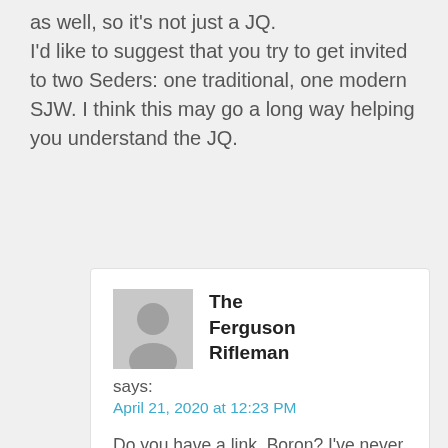as well, so it's not just a JQ. I'd like to suggest that you try to get invited to two Seders: one traditional, one modern SJW. I think this may go a long way helping you understand the JQ.
The Ferguson Rifleman
says:
April 21, 2020 at 12:23 PM
Do you have a link, Boron? I've never heard of them. It's a pickle, isn't it? Be safe